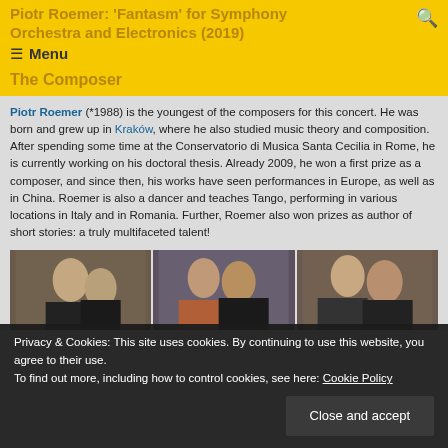Piotr Roemer: 'Fantasm' for Symphony Orchestra and Electronics (2019)
The Composer
Piotr Roemer (*1988) is the youngest of the composers for this concert. He was born and grew up in Kraków, where he also studied music theory and composition. After spending some time at the Conservatorio di Musica Santa Cecilia in Rome, he is currently working on his doctoral thesis. Already 2009, he won a first prize as a composer, and since then, his works have seen performances in Europe, as well as in China. Roemer is also a dancer and teaches Tango, performing in various locations in Italy and in Romania. Further, Roemer also won prizes as author of short stories: a truly multifaceted talent!
[Figure (photo): Three photos of musicians at a rehearsal session]
Privacy & Cookies: This site uses cookies. By continuing to use this website, you agree to their use. To find out more, including how to control cookies, see here: Cookie Policy